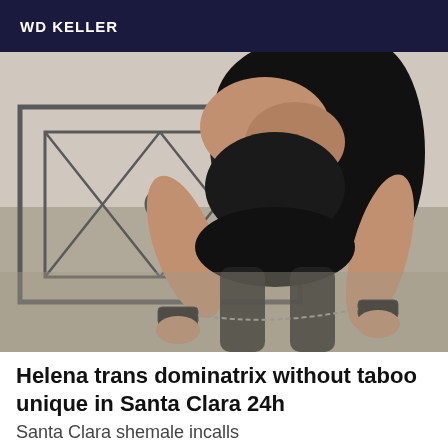WD KELLER
[Figure (photo): A woman wearing black lingerie and leather wrist cuffs connected by a chain, posed on a bed with a metal headboard in the background.]
Helena trans dominatrix without taboo unique in Santa Clara 24h
Santa Clara shemale incalls